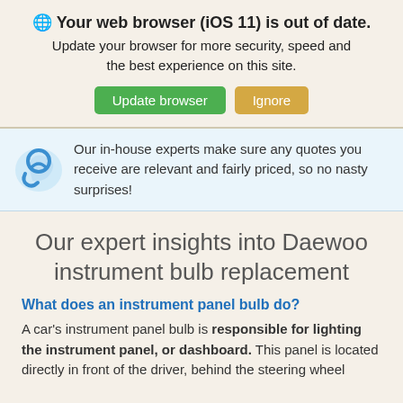🌐 Your web browser (iOS 11) is out of date. Update your browser for more security, speed and the best experience on this site.
[Figure (screenshot): Two buttons: green 'Update browser' and tan/orange 'Ignore']
Our in-house experts make sure any quotes you receive are relevant and fairly priced, so no nasty surprises!
Our expert insights into Daewoo instrument bulb replacement
What does an instrument panel bulb do?
A car's instrument panel bulb is responsible for lighting the instrument panel, or dashboard. This panel is located directly in front of the driver, behind the steering wheel